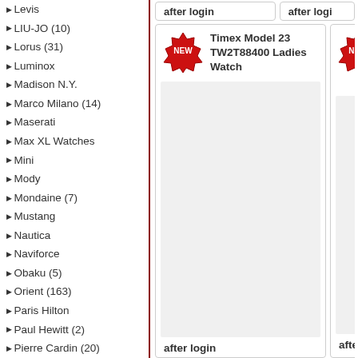Levis
LIU-JO (10)
Lorus (31)
Luminox
Madison N.Y.
Marco Milano (14)
Maserati
Max XL Watches
Mini
Mody
Mondaine (7)
Mustang
Nautica
Naviforce
Obaku (5)
Orient (163)
Paris Hilton
Paul Hewitt (2)
Pierre Cardin (20)
Pinko
Police (7)
Pulsar
Puma
Regent
Replay
Roamer (9)
Romanson (12)
s.Oliver (34)
Salvatore Ferragamo
Sector
Seiko (1)
Sognatore (3)
Soms
[Figure (screenshot): Product card for Timex Model 23 TW2T88400 Ladies Watch with NEW badge and 'after login' price placeholder]
[Figure (screenshot): Partial product card with NEW badge and 'after logi...' price placeholder (cropped)]